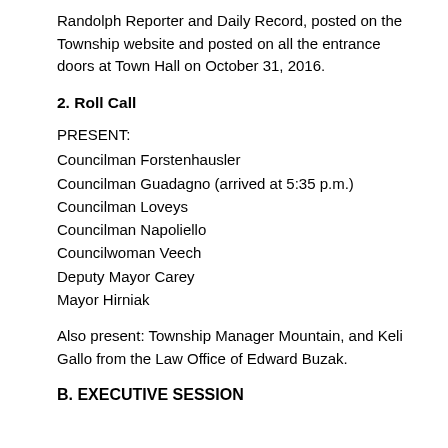Randolph Reporter and Daily Record, posted on the Township website and posted on all the entrance doors at Town Hall on October 31, 2016.
2. Roll Call
PRESENT:
Councilman Forstenhausler
Councilman Guadagno (arrived at 5:35 p.m.)
Councilman Loveys
Councilman Napoliello
Councilwoman Veech
Deputy Mayor Carey
Mayor Hirniak
Also present: Township Manager Mountain, and Keli Gallo from the Law Office of Edward Buzak.
B. EXECUTIVE SESSION